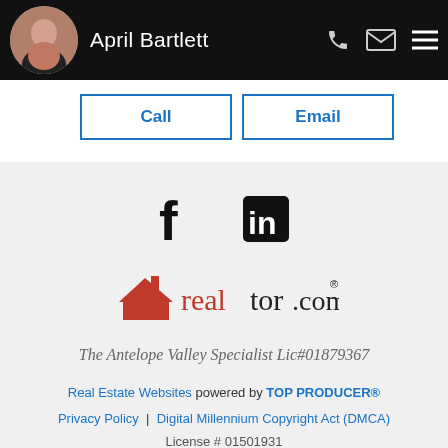April Bartlett
Call | Email
[Figure (logo): Facebook and LinkedIn social media icons]
[Figure (logo): realtor.com logo with red house icon]
The Antelope Valley Specialist Lic#01879367
Real Estate Websites powered by TOP PRODUCER®
Privacy Policy | Digital Millennium Copyright Act (DMCA)
License # 01501931